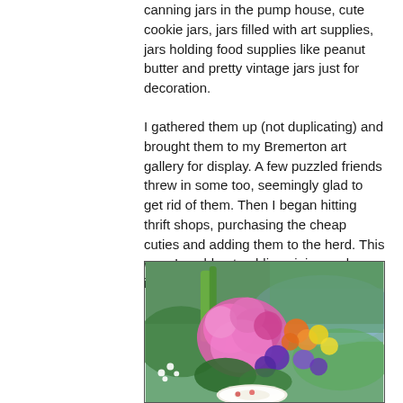canning jars in the pump house, cute cookie jars, jars filled with art supplies, jars holding food supplies like peanut butter and pretty vintage jars just for decoration.
I gathered them up (not duplicating) and brought them to my Bremerton art gallery for display. A few puzzled friends threw in some too, seemingly glad to get rid of them. Then I began hitting thrift shops, purchasing the cheap cuties and adding them to the herd. This way, I could get public opinion and information.
[Figure (photo): A colorful floral arrangement with pink geraniums, purple violas, orange and yellow flowers, set against a background of green trees and a river or lake. A decorative plate is visible at the bottom.]